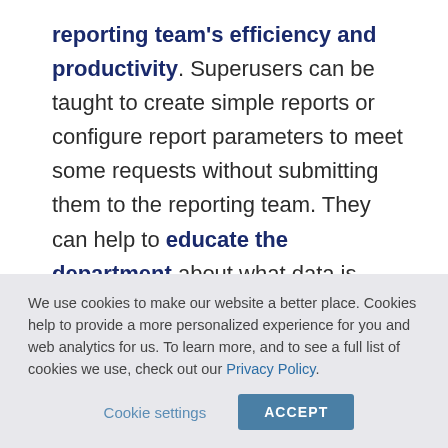reporting team's efficiency and productivity. Superusers can be taught to create simple reports or configure report parameters to meet some requests without submitting them to the reporting team. They can help to educate the department about what data is available, address data integrity issues, and teach basic reporting self-service skills. One of the most frustrating
We use cookies to make our website a better place. Cookies help to provide a more personalized experience for you and web analytics for us. To learn more, and to see a full list of cookies we use, check out our Privacy Policy.
Cookie settings   ACCEPT